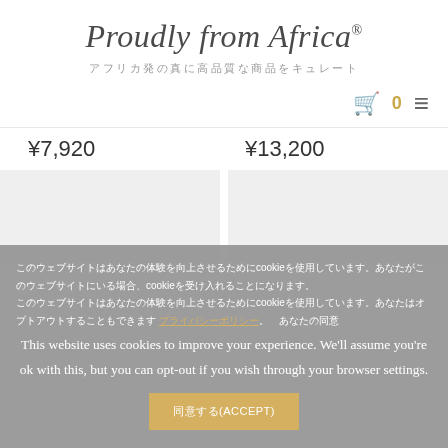Proudly from Africa®
アフリカ発の真に高品質な商品をキュレート
0
¥7,920
¥13,200
[Figure (other): Two light gray product image placeholders side by side]
このウェブサイトはあなたの体験を向上させるためにcookieを使用しています。あなたがこのウェブサイトにいる場合、cookieを受け入れることになります。このウェブサイトはあなたの体験を向上させるためにcookieを使用しています。あなたはオプトアウトすることもできます プライバシーポリシー。　あなたの同意
This website uses cookies to improve your experience. We'll assume you're ok with this, but you can opt-out if you wish through your browser settings.
同意する(ACCEPT)